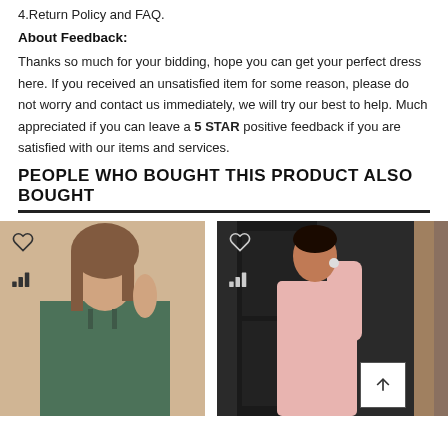4.Return Policy and FAQ.
About Feedback:
Thanks so much for your bidding, hope you can get your perfect dress here. If you received an unsatisfied item for some reason, please do not worry and contact us immediately, we will try our best to help. Much appreciated if you can leave a 5 STAR positive feedback if you are satisfied with our items and services.
PEOPLE WHO BOUGHT THIS PRODUCT ALSO BOUGHT
[Figure (photo): Woman wearing a dark green spaghetti strap wrap dress, smiling and posing with hand near hair]
[Figure (photo): Woman wearing a pink one-shoulder fitted midi dress, standing in front of a dark door]
[Figure (photo): Partial view of a third product photo, mostly cropped]